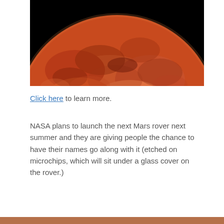[Figure (photo): Photograph of Mars taken from space showing the planet's reddish-orange surface with a black background. The southern polar ice cap is visible as a bright white area at the bottom of the planet.]
Click here to learn more.
NASA plans to launch the next Mars rover next summer and they are giving people the chance to have their names go along with it (etched on microchips, which will sit under a glass cover on the rover.)